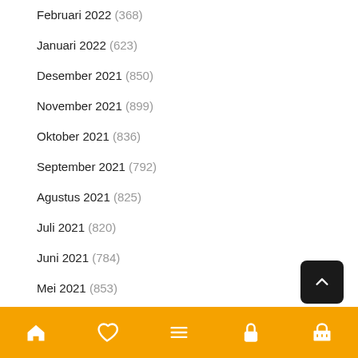Februari 2022 (368)
Januari 2022 (623)
Desember 2021 (850)
November 2021 (899)
Oktober 2021 (836)
September 2021 (792)
Agustus 2021 (825)
Juli 2021 (820)
Juni 2021 (784)
Mei 2021 (853)
April 2021 (890)
Maret 2021 (886)
Februari 2021 (487)
Januari 2021 (221)
Desember 2020 (28)
November 2020 (1)
Home | Wishlist | Menu | Lock | Cart